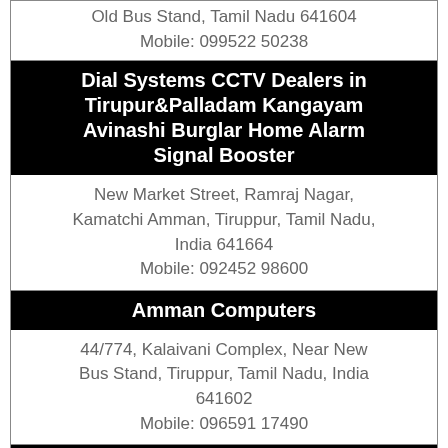Old Bus Stand, Tamil Nadu 641604
Mobile: 099522 50238
Dial Systems CCTV Dealers in Tirupur&Palladam Kangayam Avinashi Burglar Home Alarm Signal Booster
New Market Street, Ramraj Nagar, Kamatchi Amman, Tiruppur, Tamil Nadu, India 641664
Mobile: 092452 98600
Amman Computers
44/774, Kalaivani Complex, Near New Bus Stand, Tiruppur, Tamil Nadu, India 641602
Mobile: 096591 17490
Max Solutions
14, Stanes Rd, KNP Puram, Odakkadu, Tiruppur, Tamil Nadu, India 641687
Mobile: 090034 46999
Alpha Technologies